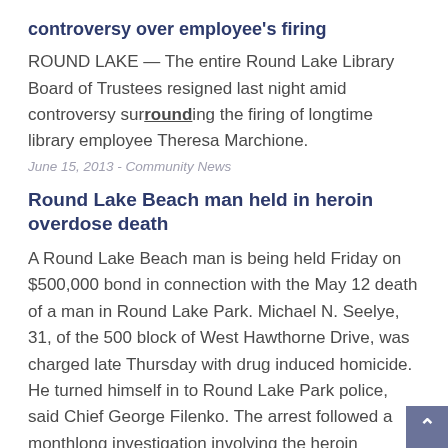controversy over employee's firing
ROUND LAKE — The entire Round Lake Library Board of Trustees resigned last night amid controversy surrounding the firing of longtime library employee Theresa Marchione.
June 15, 2013 - Community News
Round Lake Beach man held in heroin overdose death
A Round Lake Beach man is being held Friday on $500,000 bond in connection with the May 12 death of a man in Round Lake Park. Michael N. Seelye, 31, of the 500 block of West Hawthorne Drive, was charged late Thursday with drug induced homicide. He turned himself in to Round Lake Park police, said Chief George Filenko. The arrest followed a monthlong investigation involving the heroin overdose ...